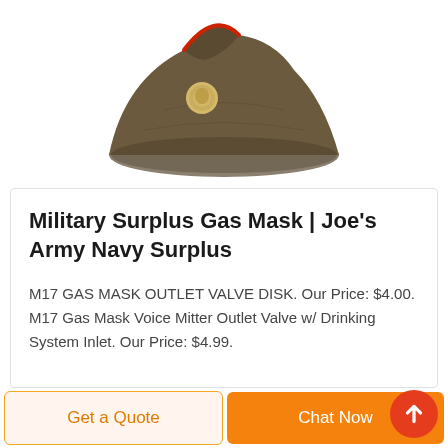[Figure (photo): Military garrison/side cap in olive drab/brown color with red piping trim and a gold/brass medallion badge on the front, shown on white background.]
Military Surplus Gas Mask | Joe's Army Navy Surplus
M17 GAS MASK OUTLET VALVE DISK. Our Price: $4.00. M17 Gas Mask Voice Mitter Outlet Valve w/ Drinking System Inlet. Our Price: $4.99.